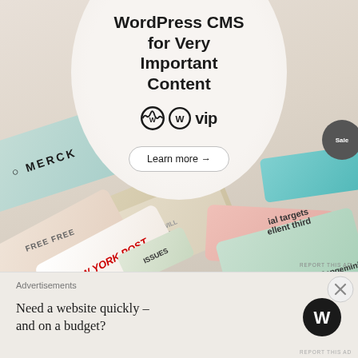[Figure (advertisement): WordPress VIP advertisement banner showing 'WordPress CMS for Very Important Content' with WordPress VIP logo and 'Learn more' button, overlaid on a collage of brand logos including Merck, Hachette, New York Post, Capgemini]
REPORT THIS AD
Advertisements
Need a website quickly – and on a budget?